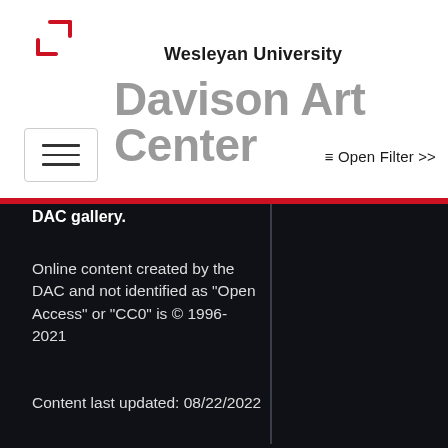[Figure (logo): Wesleyan University bracket logo mark in red]
Wesleyan University
Davison Art Center
[Figure (screenshot): Hamburger menu navigation button with three horizontal lines]
≡ Open Filter >>
DAC gallery.
Online content created by the DAC and not identified as "Open Access" or "CC0" is © 1996-2021
Content last updated: 08/22/2022